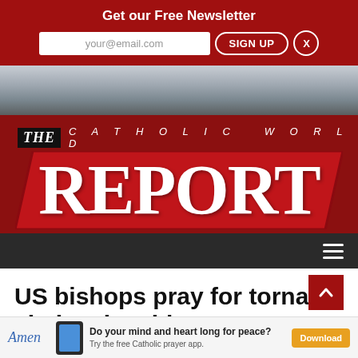Get our Free Newsletter
[Figure (logo): The Catholic World Report logo with red parallelogram background and large white REPORT text]
US bishops pray for tornado victims in Midwest
[Figure (infographic): Amen app advertisement banner: Do your mind and heart long for peace? Try the free Catholic prayer app. Download button.]